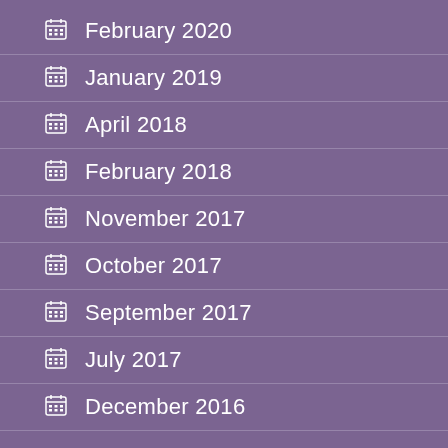February 2020
January 2019
April 2018
February 2018
November 2017
October 2017
September 2017
July 2017
December 2016